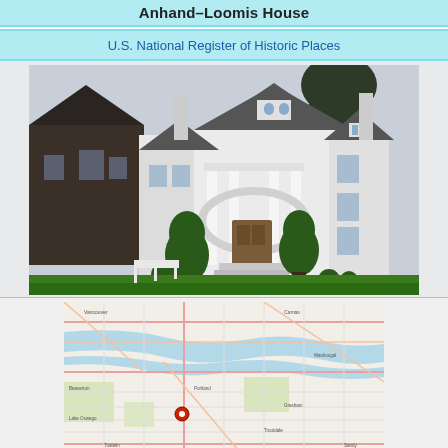Anhand–Loomis House
U.S. National Register of Historic Places
[Figure (photo): Photograph of the Anhand-Loomis House, a large white colonial-style historic house with prominent columns, dormer windows, and manicured topiary hedges on a green lawn. A dark craftsman-style house is visible to the left.]
[Figure (map): Street map showing the location of the Anhand-Loomis House marked with a red pin, showing surrounding streets and neighborhoods in what appears to be Portland, Oregon area.]